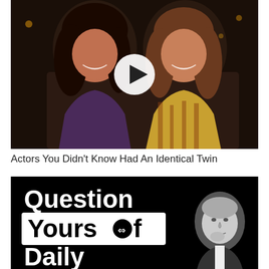[Figure (photo): Two smiling women photographed together at a dark event, one with dark hair in a purple top, one with lighter brown hair in a yellow patterned top. A white play button circle overlay is centered on the image.]
Actors You Didn't Know Had An Identical Twin
[Figure (photo): Black background image with large white bold text reading 'Question Yourself Daily' with a logo style, and a black-and-white photo of an older man in a suit on the right side.]